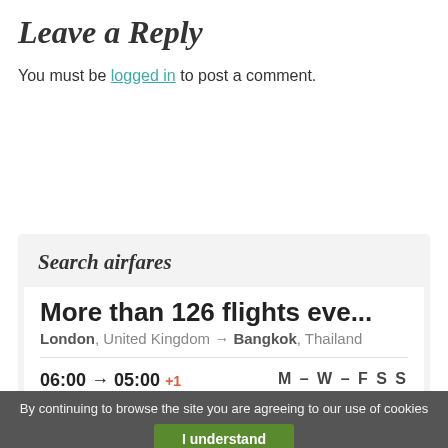Leave a Reply
You must be logged in to post a comment.
Search airfares
More than 126 flights eve...
London, United Kingdom → Bangkok, Thailand
06:00 → 05:00 +1  M – W – F S S  1 Stop
Swiss International Air Lines 345  Select dates
06:00 → 05:30 +1  M T W T F S S
By continuing to browse the site you are agreeing to our use of cookies  I understand